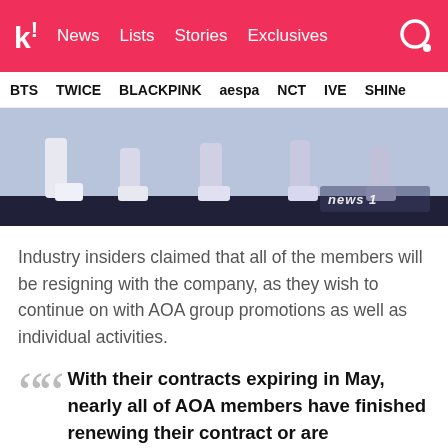kk! News  Lists  Stories  Exclusives
BTS  TWICE  BLACKPINK  aespa  NCT  IVE  SHINee
[Figure (photo): Photo of feet/legs of performers on stage with news1 watermark]
Industry insiders claimed that all of the members will be resigning with the company, as they wish to continue on with AOA group promotions as well as individual activities.
With their contracts expiring in May, nearly all of AOA members have finished renewing their contract or are